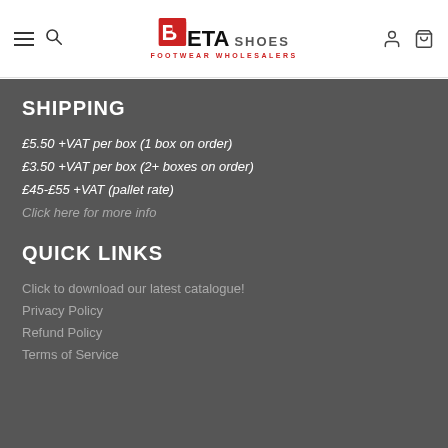Beta Shoes - Footwear Wholesalers
SHIPPING
£5.50 +VAT per box (1 box on order)
£3.50 +VAT per box (2+ boxes on order)
£45-£55 +VAT (pallet rate)
Click here for more info
QUICK LINKS
Click to download our latest catalogue!
Privacy Policy
Refund Policy
Terms of Service